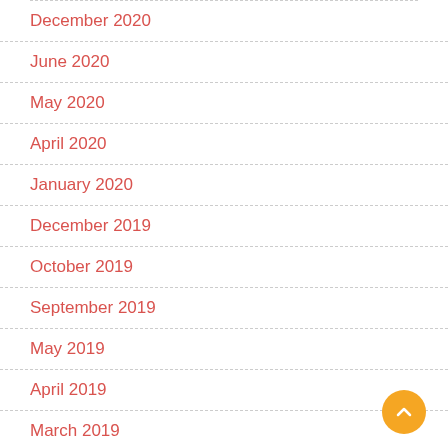December 2020
June 2020
May 2020
April 2020
January 2020
December 2019
October 2019
September 2019
May 2019
April 2019
March 2019